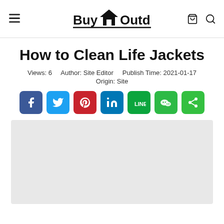BuyOutdoors — navigation header with menu, logo, cart and search icons
How to Clean Life Jackets
Views: 6   Author: Site Editor   Publish Time: 2021-01-17   Origin: Site
[Figure (other): Social sharing buttons: Facebook, Twitter, Pinterest, LinkedIn, LINE, WeChat, Share]
[Figure (photo): Large light gray placeholder image area for article content]